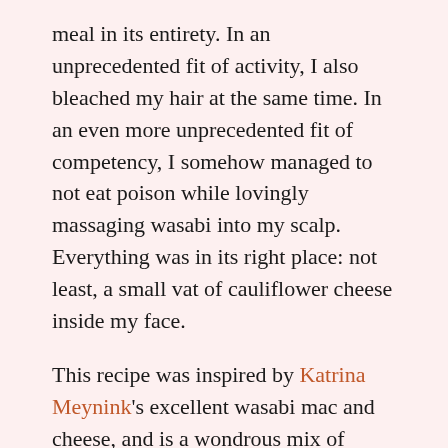meal in its entirety. In an unprecedented fit of activity, I also bleached my hair at the same time. In an even more unprecedented fit of competency, I somehow managed to not eat poison while lovingly massaging wasabi into my scalp. Everything was in its right place: not least, a small vat of cauliflower cheese inside my face.
This recipe was inspired by Katrina Meynink's excellent wasabi mac and cheese, and is a wondrous mix of blanketingly comforting and throat-punchingly zingy. The horseradish heat of the wasabi gets you right in the back of the nose while your lungs fill with the gloriously mellow, thick cheese sauce. The cauliflower, roasted and browned, is nuttily mild enough to carry both these elements with ease. Truth be told you could probably put melted cheese on a tree stump and it would taste good, but it's amazing how the simple